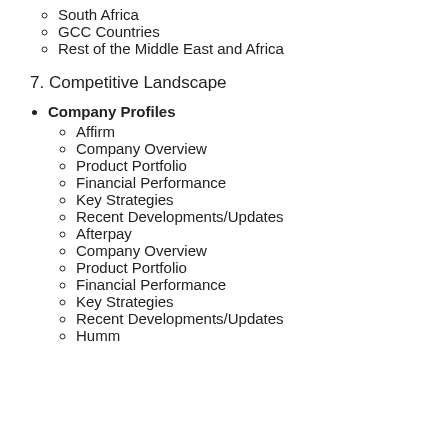South Africa
GCC Countries
Rest of the Middle East and Africa
7. Competitive Landscape
Company Profiles
Affirm
Company Overview
Product Portfolio
Financial Performance
Key Strategies
Recent Developments/Updates
Afterpay
Company Overview
Product Portfolio
Financial Performance
Key Strategies
Recent Developments/Updates
Humm